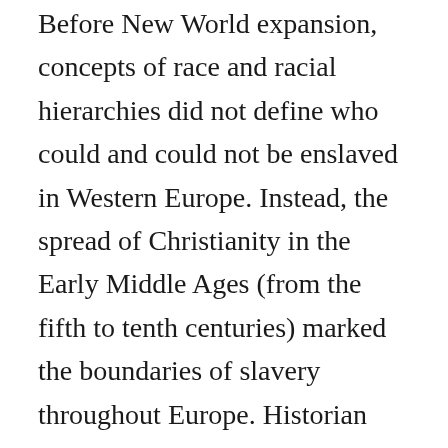Before New World expansion, concepts of race and racial hierarchies did not define who could and could not be enslaved in Western Europe. Instead, the spread of Christianity in the Early Middle Ages (from the fifth to tenth centuries) marked the boundaries of slavery throughout Europe. Historian David Brion Davis argues that the Judeo-Christian belief in a monotheistic God who rules over a homogenous group of people eventually served to prevent European Christians from enslaving one another. As more western Europeans converted to Christianity, this unified religious identity enabled the decline of slavery in Europe, but allowed other rigid social and labor hierarchies to remain. By